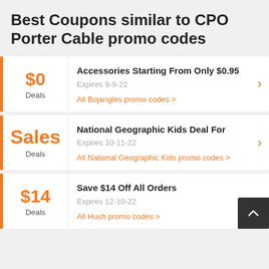Best Coupons similar to CPO Porter Cable promo codes
$0 Deals | Accessories Starting From Only $0.95 | Expires 9-9-22 | All Bojangles promo codes
Sales Deals | National Geographic Kids Deal For | Expires 10-11-22 | All National Geographic Kids promo codes
$14 Deals | Save $14 Off All Orders | Expires 12-10-22 | All Hush promo codes